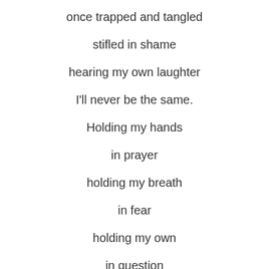once trapped and tangled
stifled in shame
hearing my own laughter
I'll never be the same.
Holding my hands
in prayer
holding my breath
in fear
holding my own
in question